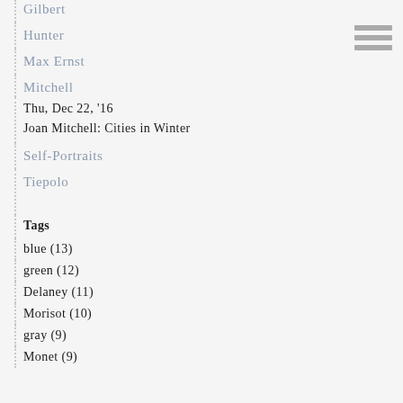Gilbert
Hunter
Max Ernst
Mitchell
Thu, Dec 22, '16
Joan Mitchell: Cities in Winter
Self-Portraits
Tiepolo
Tags
blue (13)
green (12)
Delaney (11)
Morisot (10)
gray (9)
Monet (9)